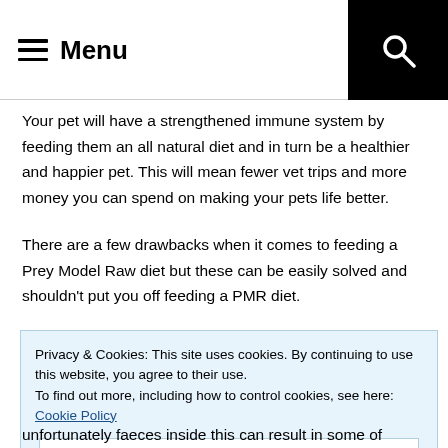Menu
Your pet will have a strengthened immune system by feeding them an all natural diet and in turn be a healthier and happier pet. This will mean fewer vet trips and more money you can spend on making your pets life better.
There are a few drawbacks when it comes to feeding a Prey Model Raw diet but these can be easily solved and shouldn't put you off feeding a PMR diet.
Privacy & Cookies: This site uses cookies. By continuing to use this website, you agree to their use.
To find out more, including how to control cookies, see here: Cookie Policy
Close and accept
unfortunately faeces inside this can result in some of